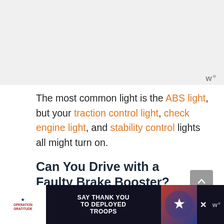[Figure (other): Gray placeholder image area at top of page]
The most common light is the ABS light, but your traction control light, check engine light, and stability control lights all might turn on.
Can You Drive with a Faulty Brake Booster?
The short answer is yes. The full answer is more complicated.
[Figure (other): Advertisement banner: Operation Gratitude - Say Thank You To Deployed Troops]
[Figure (other): Chat bubble widget and avatar of a woman]
SAY THANK YOU TO DEPLOYED TROOPS